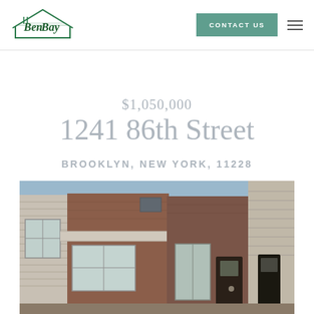[Figure (logo): Ben-Bay realty logo with house outline and stylized text]
CONTACT US
$1,050,000
1241 86th Street
BROOKLYN, NEW YORK, 11228
[Figure (photo): Exterior photo of a brick row house at 1241 86th Street, Brooklyn, with neighboring homes, awning over front, and shrubs]